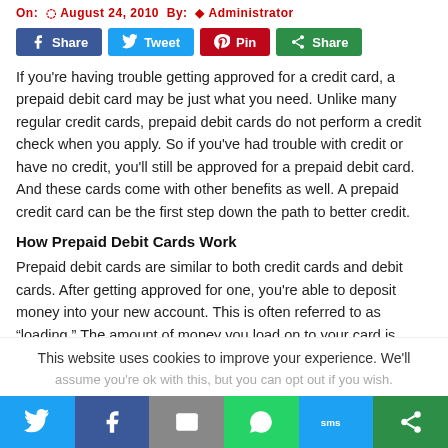On: August 24, 2010 By: Administrator
[Figure (infographic): Social share buttons: Share (Facebook), Tweet (Twitter), Pin (Pinterest), Share (More)]
If you're having trouble getting approved for a credit card, a prepaid debit card may be just what you need. Unlike many regular credit cards, prepaid debit cards do not perform a credit check when you apply. So if you've had trouble with credit or have no credit, you'll still be approved for a prepaid debit card. And these cards come with other benefits as well. A prepaid credit card can be the first step down the path to better credit.
How Prepaid Debit Cards Work
Prepaid debit cards are similar to both credit cards and debit cards. After getting approved for one, you're able to deposit money into your new account. This is often referred to as “loading.” The amount of money you load on to your card is equal to your line of credit. When you swipe the card, the money is subtracted from the amount you deposited. As long as you have money on your card
This website uses cookies to improve your experience. We'll assume you're ok with this, but you can opt out if you wish.
[Figure (infographic): Bottom share bar with icons: Twitter, Facebook, Email, WhatsApp, SMS, More]